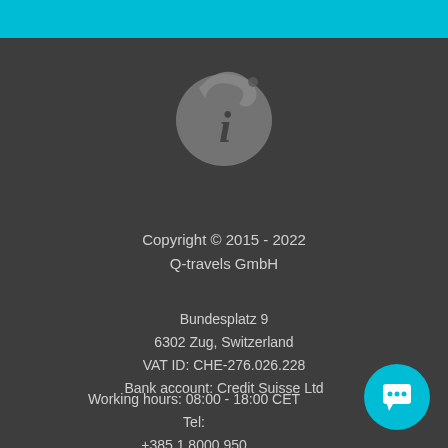[Figure (logo): Circular logo with stylized letter 'i' on a grey sphere with a small dot above, representing Q-travels brand]
Copyright © 2015 - 2022
Q-travels GmbH
Bundesplatz 9
6302 Zug, Switzerland
VAT ID: CHE-276.026.228
Bank account: Credit Suisse Ltd
Working hours: 08:00 - 18:00 CET
Tel:
+385 1 8000 950